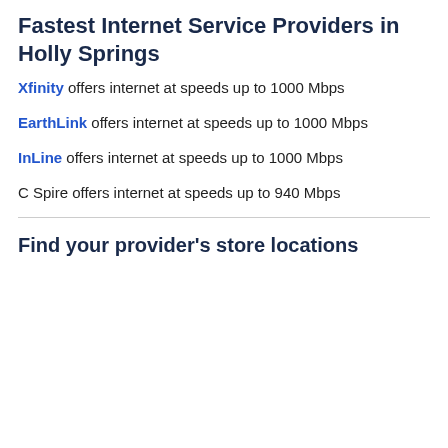Fastest Internet Service Providers in Holly Springs
Xfinity offers internet at speeds up to 1000 Mbps
EarthLink offers internet at speeds up to 1000 Mbps
InLine offers internet at speeds up to 1000 Mbps
C Spire offers internet at speeds up to 940 Mbps
Find your provider's store locations